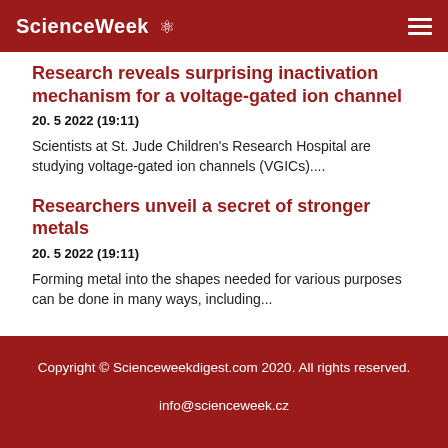ScienceWeek
Research reveals surprising inactivation mechanism for a voltage-gated ion channel
20. 5 2022 (19:11)
Scientists at St. Jude Children's Research Hospital are studying voltage-gated ion channels (VGICs)....
Researchers unveil a secret of stronger metals
20. 5 2022 (19:11)
Forming metal into the shapes needed for various purposes can be done in many ways, including...
Copyright © Scienceweekdigest.com 2020. All rights reserved.
info@scienceweek.cz